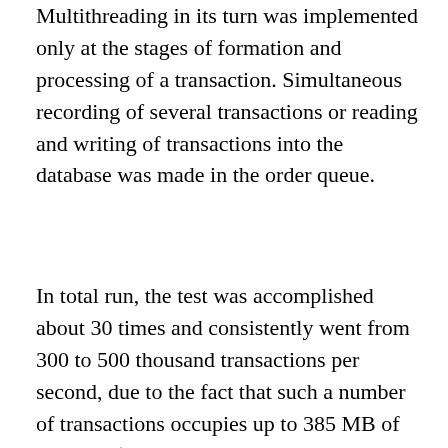Multithreading in its turn was implemented only at the stages of formation and processing of a transaction. Simultaneous recording of several transactions or reading and writing of transactions into the database was made in the order queue.
In total run, the test was accomplished about 30 times and consistently went from 300 to 500 thousand transactions per second, due to the fact that such a number of transactions occupies up to 385 MB of memory (500 thousand transactions per second). The transaction has a maximum size that is reserved in the database, i.e. up to 808 bytes depending on the balance, the length of the address, the transaction currency, availability of digital signature, etc. We have decided to cut the transaction to 120–150 bytes in order to simplify